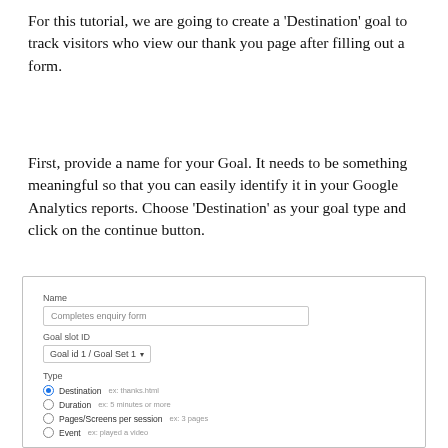For this tutorial, we are going to create a 'Destination' goal to track visitors who view our thank you page after filling out a form.
First, provide a name for your Goal. It needs to be something meaningful so that you can easily identify it in your Google Analytics reports. Choose 'Destination' as your goal type and click on the continue button.
[Figure (screenshot): Google Analytics goal setup form showing fields: Name (filled with 'Completes enquiry form'), Goal slot ID (set to 'Goal id 1 / Goal Set 1'), and Type with radio buttons: Destination (selected, ex: thanks.html), Duration (ex: 5 minutes or more), Pages/Screens per session (ex: 3 pages), Event (ex: played a video)]